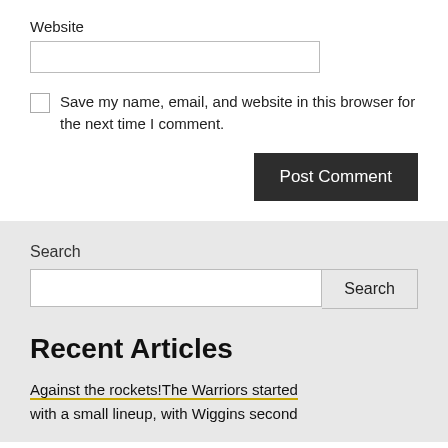Website
Save my name, email, and website in this browser for the next time I comment.
Post Comment
Search
Search
Recent Articles
Against the rockets!The Warriors started with a small lineup, with Wiggins second